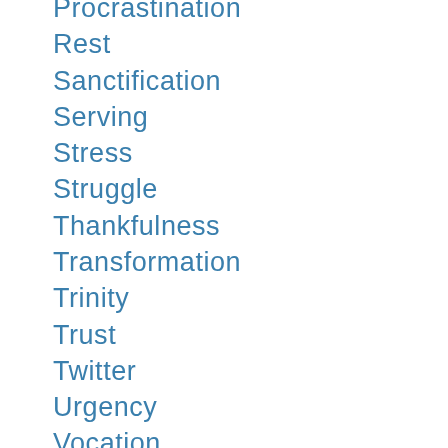Procrastination
Rest
Sanctification
Serving
Stress
Struggle
Thankfulness
Transformation
Trinity
Trust
Twitter
Urgency
Vocation
Workout
Worship
Worship Leading